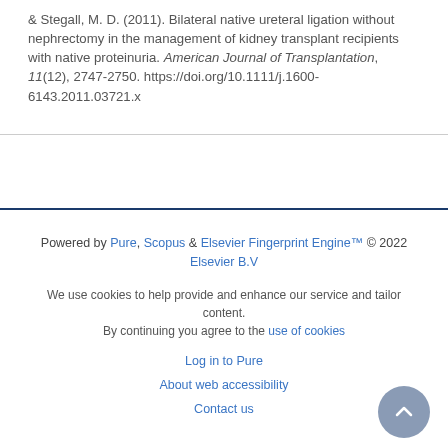& Stegall, M. D. (2011). Bilateral native ureteral ligation without nephrectomy in the management of kidney transplant recipients with native proteinuria. American Journal of Transplantation, 11(12), 2747-2750. https://doi.org/10.1111/j.1600-6143.2011.03721.x
Powered by Pure, Scopus & Elsevier Fingerprint Engine™ © 2022 Elsevier B.V

We use cookies to help provide and enhance our service and tailor content. By continuing you agree to the use of cookies

Log in to Pure

About web accessibility

Contact us